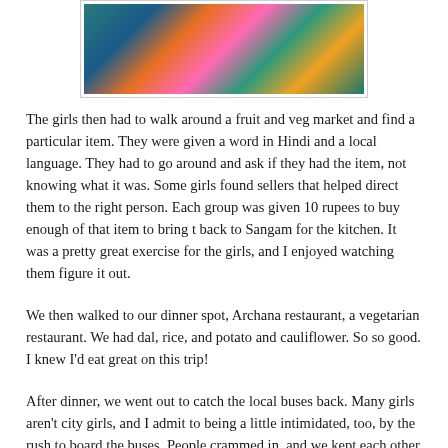[Figure (photo): Colorful saris or fabric in teal, orange, pink, and gold colors]
The girls then had to walk around a fruit and veg market and find a particular item. They were given a word in Hindi and a local language. They had to go around and ask if they had the item, not knowing what it was. Some girls found sellers that helped direct them to the right person. Each group was given 10 rupees to buy enough of that item to bring t back to Sangam for the kitchen. It was a pretty great exercise for the girls, and I enjoyed watching them figure it out.
We then walked to our dinner spot, Archana restaurant, a vegetarian restaurant. We had dal, rice, and potato and cauliflower. So so good. I knew I'd eat great on this trip!
After dinner, we went out to catch the local buses back. Many girls aren't city girls, and I admit to being a little intimidated, too, by the rush to board the buses. People crammed in, and we kept each other upright by smashing together. We had to change buses once, and I was super grateful we didn't have to navigate this ourselves.
Back at Sangam, the tailors arrived, and we all got measured for the saris and